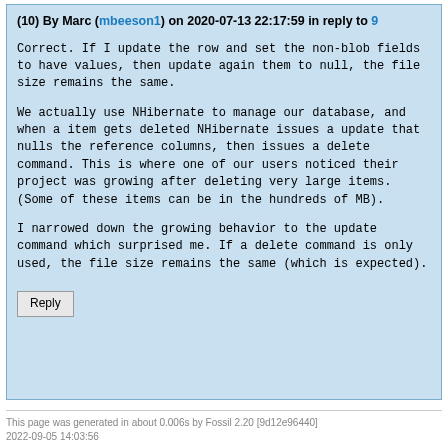(10) By Marc (mbeeson1) on 2020-07-13 22:17:59 in reply to 9
Correct. If I update the row and set the non-blob fields to have values, then update again them to null, the file size remains the same.
We actually use NHibernate to manage our database, and when a item gets deleted NHibernate issues a update that nulls the reference columns, then issues a delete command. This is where one of our users noticed their project was growing after deleting very large items. (Some of these items can be in the hundreds of MB).
I narrowed down the growing behavior to the update command which surprised me. If a delete command is only used, the file size remains the same (which is expected).
Reply
This page was generated in about 0.006s by Fossil 2.20 [9d12e96440] 2022-09-05 14:03:56